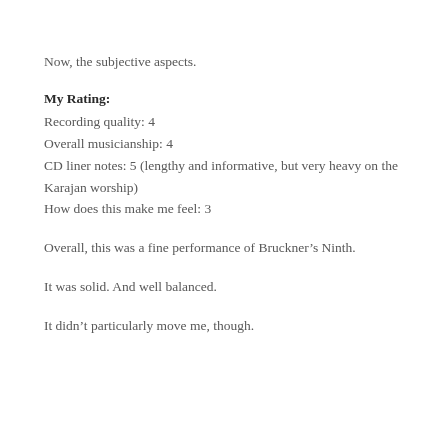Now, the subjective aspects.
My Rating:
Recording quality: 4
Overall musicianship: 4
CD liner notes: 5 (lengthy and informative, but very heavy on the Karajan worship)
How does this make me feel: 3
Overall, this was a fine performance of Bruckner’s Ninth.
It was solid. And well balanced.
It didn’t particularly move me, though.